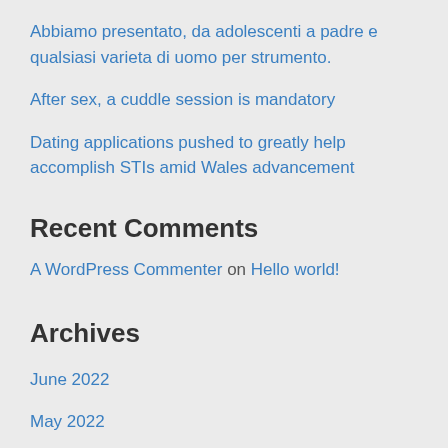Abbiamo presentato, da adolescenti a padre e qualsiasi varieta di uomo per strumento.
After sex, a cuddle session is mandatory
Dating applications pushed to greatly help accomplish STIs amid Wales advancement
Recent Comments
A WordPress Commenter on Hello world!
Archives
June 2022
May 2022
April 2022
March 2022